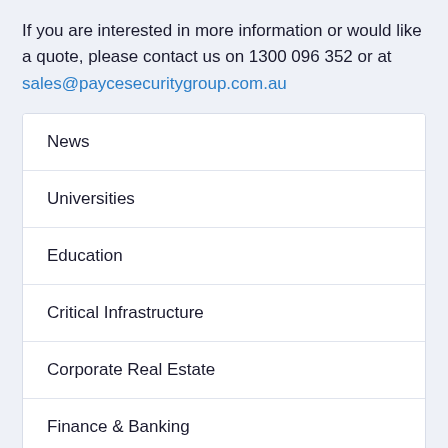If you are interested in more information or would like a quote, please contact us on 1300 096 352 or at sales@paycesecuritygroup.com.au
News
Universities
Education
Critical Infrastructure
Corporate Real Estate
Finance & Banking
Government